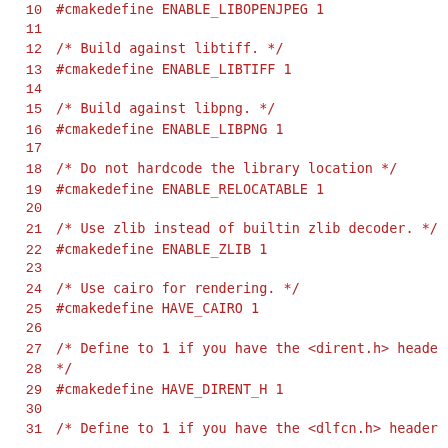10   #cmakedefine ENABLE_LIBOPENJPEG 1
11   
12   /* Build against libtiff. */
13   #cmakedefine ENABLE_LIBTIFF 1
14   
15   /* Build against libpng. */
16   #cmakedefine ENABLE_LIBPNG 1
17   
18   /* Do not hardcode the library location */
19   #cmakedefine ENABLE_RELOCATABLE 1
20   
21   /* Use zlib instead of builtin zlib decoder. */
22   #cmakedefine ENABLE_ZLIB 1
23   
24   /* Use cairo for rendering. */
25   #cmakedefine HAVE_CAIRO 1
26   
27   /* Define to 1 if you have the <dirent.h> header file. */
28      */
29   #cmakedefine HAVE_DIRENT_H 1
30   
31   /* Define to 1 if you have the <dlfcn.h> header file.